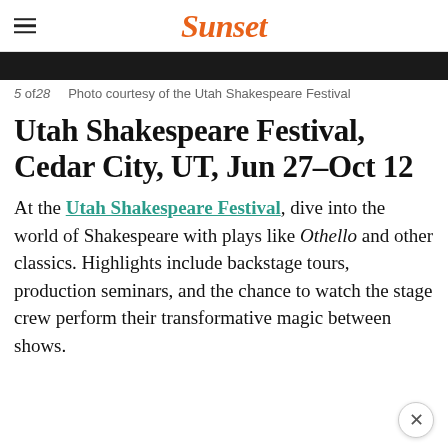Sunset
[Figure (photo): Dark photograph strip showing audience or performers at Utah Shakespeare Festival]
5 of 28   Photo courtesy of the Utah Shakespeare Festival
Utah Shakespeare Festival, Cedar City, UT, Jun 27–Oct 12
At the Utah Shakespeare Festival, dive into the world of Shakespeare with plays like Othello and other classics. Highlights include backstage tours, production seminars, and the chance to watch the stage crew perform their transformative magic between shows.